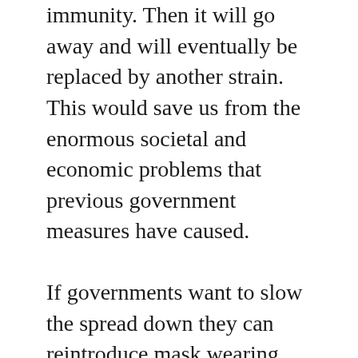immunity. Then it will go away and will eventually be replaced by another strain. This would save us from the enormous societal and economic problems that previous government measures have caused.
If governments want to slow the spread down they can reintroduce mask wearing (proven to be effective), prioritise working from home and prevent large gatherings of people, such as soccer games and cinemas. If they want to protect vulnerable people then they should isolate them. Not impose restrictions on the huge majority who are